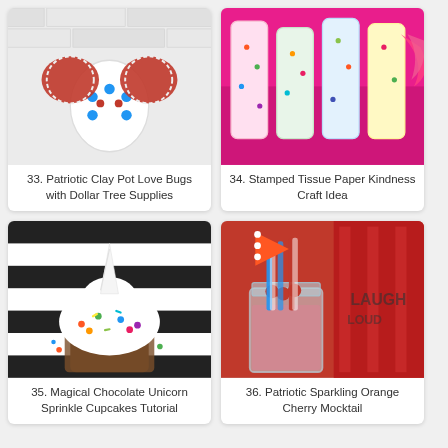[Figure (photo): Patriotic clay pot love bugs craft with red and white decorations on white brick background]
visit link
33. Patriotic Clay Pot Love Bugs with Dollar Tree Supplies
[Figure (photo): Stamped tissue paper craft with pink and colorful sprinkle decorations]
visit link
34. Stamped Tissue Paper Kindness Craft Idea
[Figure (photo): Magical chocolate unicorn sprinkle cupcake with white horn and colorful sprinkles on black and white striped background]
visit link
35. Magical Chocolate Unicorn Sprinkle Cupcakes Tutorial
[Figure (photo): Patriotic sparkling orange cherry mocktail in a mason jar with red and blue striped straws and cherries, red phone booth background]
visit link
36. Patriotic Sparkling Orange Cherry Mocktail